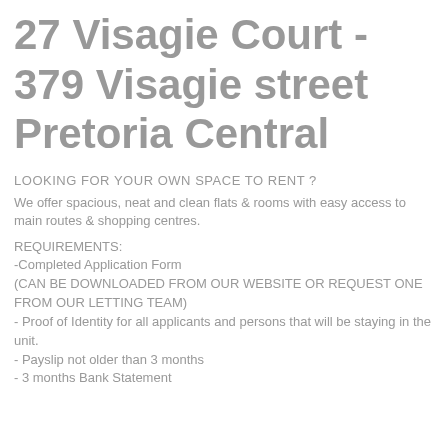27 Visagie Court - 379 Visagie street Pretoria Central
LOOKING FOR YOUR OWN SPACE TO RENT ?
We offer spacious, neat and clean flats & rooms with easy access to main routes & shopping centres.
REQUIREMENTS:
-Completed Application Form
(CAN BE DOWNLOADED FROM OUR WEBSITE OR REQUEST ONE FROM OUR LETTING TEAM)
- Proof of Identity for all applicants and persons that will be staying in the unit.
- Payslip not older than 3 months
- 3 months Bank Statement